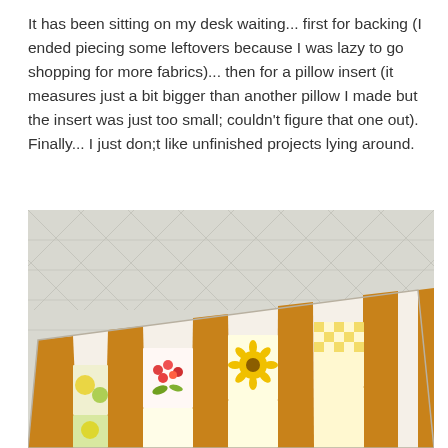It has been sitting on my desk waiting... first for backing (I ended piecing some leftovers because I was lazy to go shopping for more fabrics)... then for a pillow insert (it measures just a bit bigger than another pillow I made but the insert was just too small; couldn't figure that one out). Finally... I just don;t like unfinished projects lying around.
[Figure (photo): A decorative patchwork pillow with orange/gold stripes and floral fabric patches (red, yellow, green flowers) resting against a white tiled or brick wall background.]